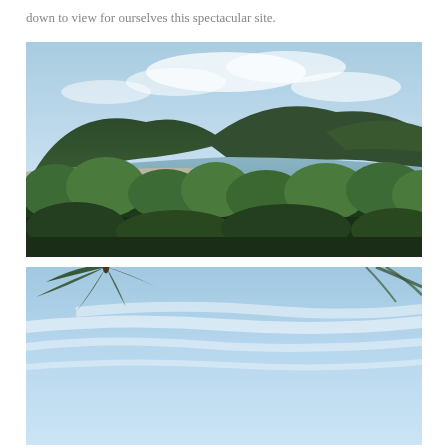down to view for ourselves this spectacular site.
[Figure (photo): Coastal landscape photograph showing a bay with calm water, sandy beach in the background, densely forested mountains/hills rising behind the bay, and lush mangrove trees in the foreground. Blue sky with light clouds above.]
[Figure (photo): Photograph showing sky with light wispy clouds and the tops of palm tree fronds visible at the top of the frame. Light blue sky dominates the image.]